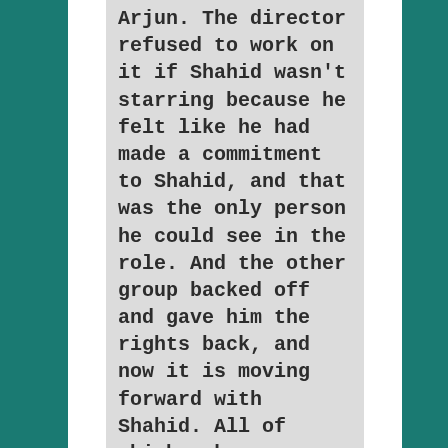Arjun. The director refused to work on it if Shahid wasn't starring because he felt like he had made a commitment to Shahid, and that was the only person he could see in the role. And the other group backed off and gave him the rights back, and now it is moving forward with Shahid. All of which makes me think a last minute switch to Ishaan is unlikely.
Advertisements
Gambling Problem? Call (877-8-HOPENY) or text HOPENY (467369). If you or someone you know has a gambling problem, crisis counseling and referral services can be accessed by calling 1-800-GAMBLER (1-800-426-2537) (IL/IN/LA/MI/NJ/PA/WV/WY), 1-800-NEXT STEP (AZ), 1-800-522-4700 (CO/NH), 888-789-7777/visit ccpg.org/chat (CT), 1-800-BETS OFF (IA), visit DPGR.org (OR), call/text TN REDLINE 1-800-889-9789 (TN), or 1-888-532-3500 (VA).